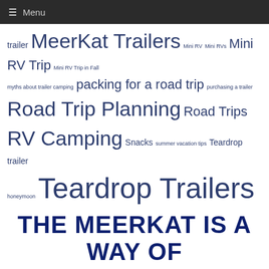Menu
trailer MeerKat Trailers Mini RV Mini RVs Mini RV Trip Mini RV Trip in Fall myths about trailer camping packing for a road trip purchasing a trailer Road Trip Planning Road Trips RV Camping Snacks summer vacation tips Teardrop trailer honeymoon Teardrop Trailers towing a teardrop trailer Trailer Upgrades Travel Accessories Traveling on a Budget Traveling With a Mini RV Traveling With Your Dog Travel Safety Travel Tailers Travel Trailer Campers Travel Trailers Vehicle Maintenance What to pack for your next road trip winterizing your trailer
THE MEERKAT IS A WAY OF